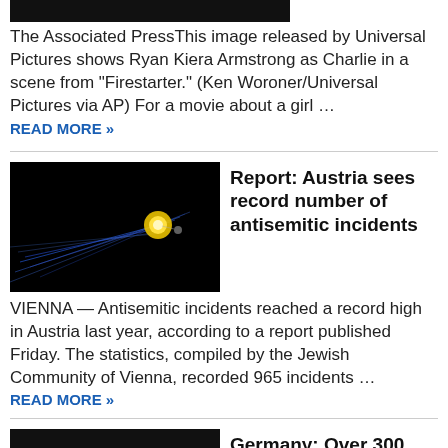[Figure (photo): Cropped dark photo at top of page (partial, cut off at top)]
The Associated PressThis image released by Universal Pictures shows Ryan Kiera Armstrong as Charlie in a scene from “Firestarter.” (Ken Woroner/Universal Pictures via AP) For a movie about a girl ... READ MORE »
[Figure (photo): Dark image with blue light streaks and a bright yellow/gold glowing spot, related to Austria antisemitism article]
Report: Austria sees record number of antisemitic incidents
VIENNA — Antisemitic incidents reached a record high in Austria last year, according to a report published Friday. The statistics, compiled by the Jewish Community of Vienna, recorded 965 incidents ... READ MORE »
[Figure (photo): Dark photo at bottom, partially visible, related to Germany far-right article]
Germany: Over 300 far-